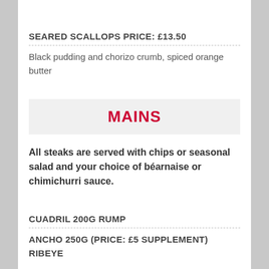SEARED SCALLOPS PRICE: £13.50
Black pudding and chorizo crumb, spiced orange butter
MAINS
All steaks are served with chips or seasonal salad and your choice of béarnaise or chimichurri sauce.
CUADRIL 200G RUMP
ANCHO 250G (PRICE: £5 SUPPLEMENT) RIBEYE